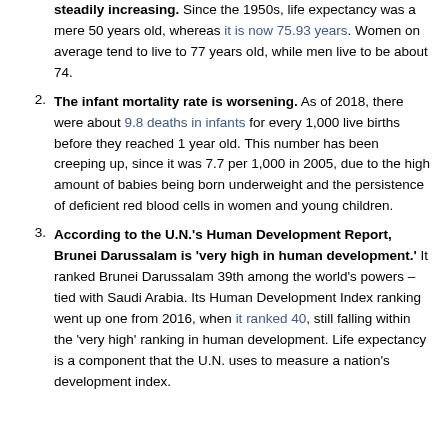Life expectancy has been steadily increasing. Since the 1950s, life expectancy was a mere 50 years old, whereas it is now 75.93 years. Women on average tend to live to 77 years old, while men live to be about 74.
The infant mortality rate is worsening. As of 2018, there were about 9.8 deaths in infants for every 1,000 live births before they reached 1 year old. This number has been creeping up, since it was 7.7 per 1,000 in 2005, due to the high amount of babies being born underweight and the persistence of deficient red blood cells in women and young children.
According to the U.N.'s Human Development Report, Brunei Darussalam is 'very high in human development.' It ranked Brunei Darussalam 39th among the world's powers – tied with Saudi Arabia. Its Human Development Index ranking went up one from 2016, when it ranked 40, still falling within the 'very high' ranking in human development. Life expectancy is a component that the U.N. uses to measure a nation's development index.